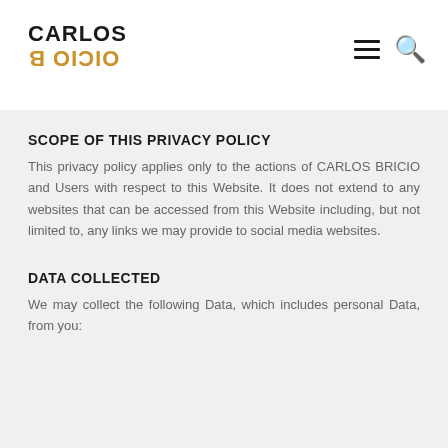[Figure (logo): Carlos Bricio logo: 'CARLOS' in black bold uppercase, 'OICIO B' mirrored/flipped in gold/amber bold uppercase below]
SCOPE OF THIS PRIVACY POLICY
This privacy policy applies only to the actions of CARLOS BRICIO and Users with respect to this Website. It does not extend to any websites that can be accessed from this Website including, but not limited to, any links we may provide to social media websites.
DATA COLLECTED
We may collect the following Data, which includes personal Data, from you: